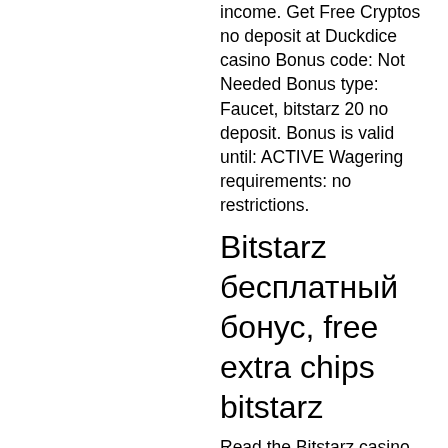income. Get Free Cryptos no deposit at Duckdice casino Bonus code: Not Needed Bonus type: Faucet, bitstarz 20 no deposit. Bonus is valid until: ACTIVE Wagering requirements: no restrictions.
Bitstarz бесплатный бонус, free extra chips bitstarz
Read the Bitstarz casino review to discover more bonuses. No Deposit 10 freespins at Coinbet24 Bonus code: is sent via sms. Bonus type: receive 10 free spins after phone verification. Bonus is valid until: ACTIVE Wagering requirements: 40 times the bonus value, bitstarz 20. Maximum cashout: 50 mBTC How to claim: Register at Coinbet24 bitcoin casino, verify your phone number in 'Personal Details', then they will send